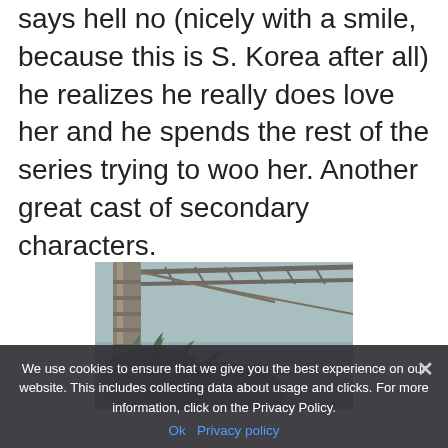says hell no (nicely with a smile, because this is S. Korea after all) he realizes he really does love her and he spends the rest of the series trying to woo her. Another great cast of secondary characters.
[Figure (photo): A photograph showing an industrial structure with metal framework and pipes against a misty sky, with palm-like foliage visible below.]
We use cookies to ensure that we give you the best experience on our website. This includes collecting data about usage and clicks. For more information, click on the Privacy Policy.
Ok   Privacy policy